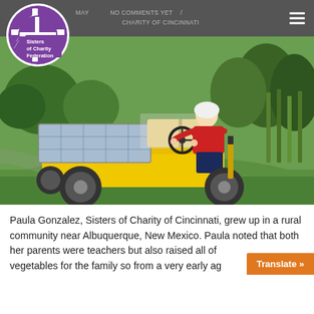MAY ... NO COMMENTS YET / CHARITY OF CINCINNATI
[Figure (logo): Sisters of Charity Federation logo — purple circle with white cross and radiating lines, text 'Sisters of Charity Federation']
[Figure (photo): Elderly woman in red shirt driving a yellow solar-powered golf cart on green grass, with garden and trees in background]
Paula Gonzalez, Sisters of Charity of Cincinnati, grew up in a rural community near Albuquerque, New Mexico. Paula noted that both her parents were teachers but also raised all of ... vegetables for the family so from a very early ag...